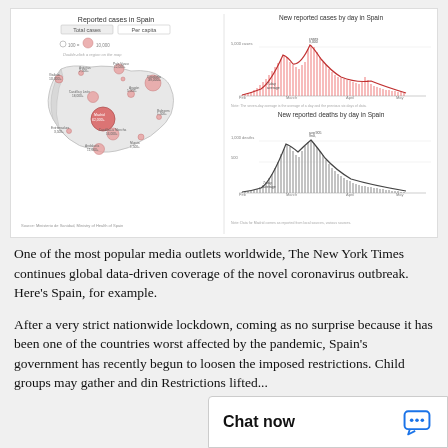[Figure (infographic): New York Times data visualization of COVID-19 in Spain, showing a map of reported cases by region (bubble map) on the left, and two line/bar charts on the right: 'New reported cases by day in Spain' and 'New reported deaths by day in Spain', covering Feb through May.]
One of the most popular media outlets worldwide, The New York Times continues global data-driven coverage of the novel coronavirus outbreak. Here's Spain, for example.
After a very strict nationwide lockdown, coming as no surprise because it has been one of the countries worst affected by the pandemic, Spain's government has recently begun to loosen the imposed restrictions. Child groups may gather and din Restrictions lifted...